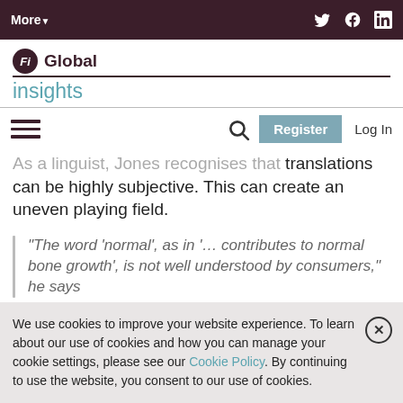More▼  [Twitter] [Facebook] [LinkedIn]
Fi Global insights
As a linguist, Jones recognises that translations can be highly subjective. This can create an uneven playing field.
“The word ‘normal’, as in ‘… contributes to normal bone growth’, is not well understood by consumers,” he says
We use cookies to improve your website experience. To learn about our use of cookies and how you can manage your cookie settings, please see our Cookie Policy. By continuing to use the website, you consent to our use of cookies.